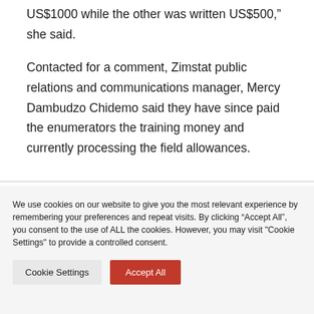US$1000 while the other was written US$500,” she said.
Contacted for a comment, Zimstat public relations and communications manager, Mercy Dambudzo Chidemo said they have since paid the enumerators the training money and currently processing the field allowances.
We use cookies on our website to give you the most relevant experience by remembering your preferences and repeat visits. By clicking “Accept All”, you consent to the use of ALL the cookies. However, you may visit "Cookie Settings" to provide a controlled consent.